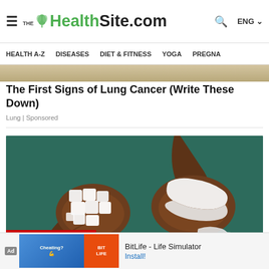THE HealthSite.com — ENG
HEALTH A-Z | DISEASES | DIET & FITNESS | YOGA | PREGNA
[Figure (photo): Partial top strip of an advertisement image (beige/tan background)]
The First Signs of Lung Cancer (Write These Down)
Lung | Sponsored
[Figure (photo): Two wooden spoons holding white sugar cubes/sugar pieces on a dark teal background, with loose white sugar pieces scattered below]
MOST POPULAR
[Figure (photo): Bottom ad banner: Ad label, BitLife game ad thumbnails (cartoon muscle arm and BitLife logo), with text 'BitLife - Life Simulator' and 'Install!' link]